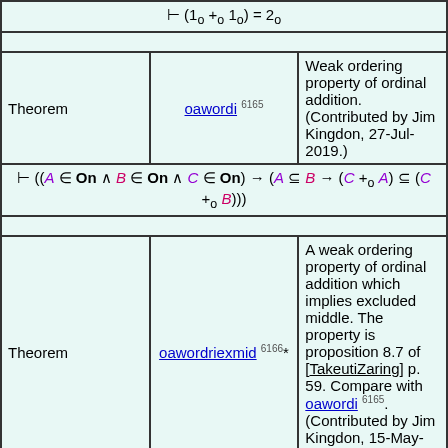| Theorem | oawordi 6165 | Description |
| --- | --- | --- |
| Theorem | oawordi 6165 | Weak ordering property of ordinal addition. (Contributed by Jim Kingdon, 27-Jul-2019.) |
| Theorem | oawordriexmid 6166* | Description |
| --- | --- | --- |
| Theorem | oawordriexmid 6166* | A weak ordering property of ordinal addition which implies excluded middle. The property is proposition 8.7 of [TakeutiZaring] p. 59. Compare with oawordi 6165. (Contributed by Jim Kingdon, 15-May-2022.) |
| Theorem | oaword1 6167 | Description |
| --- | --- | --- |
| Theorem | oaword1 6167 | An ordinal is less than or equal to its sum with another. Part of Exercise 5 of [TakeutiZaring] p. 62. (Contributed by NM, 6- |